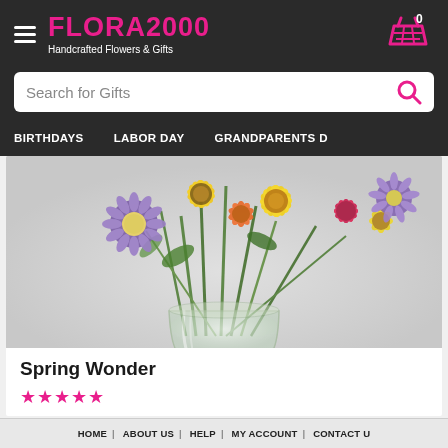FLORA2000 Handcrafted Flowers & Gifts
Search for Gifts
BIRTHDAYS | LABOR DAY | GRANDPARENTS D
[Figure (photo): Spring Wonder floral arrangement in a clear glass vase with yellow daisies, purple asters, red carnations, and green stems on a gray background]
Spring Wonder
HOME | ABOUT US | HELP | MY ACCOUNT | CONTACT U